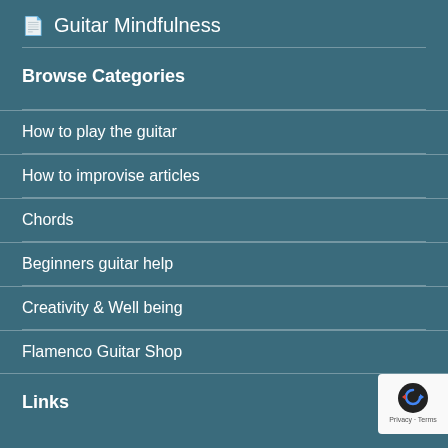Guitar Mindfulness
Browse Categories
How to play the guitar
How to improvise articles
Chords
Beginners guitar help
Creativity & Well being
Flamenco Guitar Shop
Links